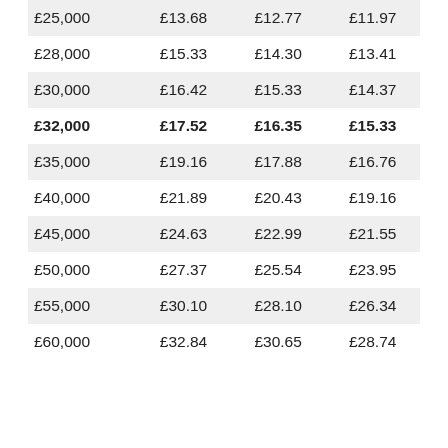| £25,000 | £13.68 | £12.77 | £11.97 |
| £28,000 | £15.33 | £14.30 | £13.41 |
| £30,000 | £16.42 | £15.33 | £14.37 |
| £32,000 | £17.52 | £16.35 | £15.33 |
| £35,000 | £19.16 | £17.88 | £16.76 |
| £40,000 | £21.89 | £20.43 | £19.16 |
| £45,000 | £24.63 | £22.99 | £21.55 |
| £50,000 | £27.37 | £25.54 | £23.95 |
| £55,000 | £30.10 | £28.10 | £26.34 |
| £60,000 | £32.84 | £30.65 | £28.74 |